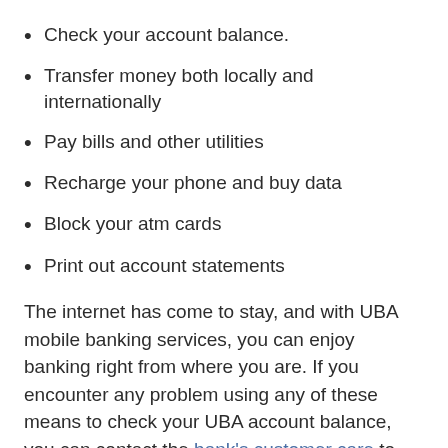Check your account balance.
Transfer money both locally and internationally
Pay bills and other utilities
Recharge your phone and buy data
Block your atm cards
Print out account statements
The internet has come to stay, and with UBA mobile banking services, you can enjoy banking right from where you are. If you encounter any problem using any of these means to check your UBA account balance, you can contact the bank's customer care to resolve it.